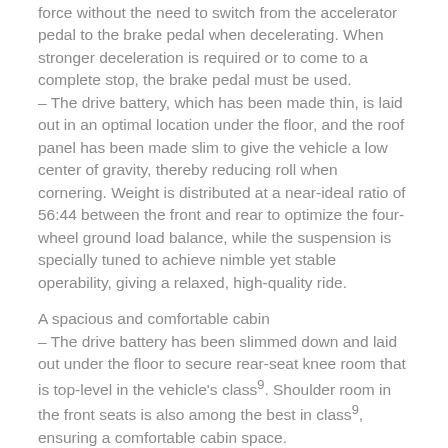force without the need to switch from the accelerator pedal to the brake pedal when decelerating. When stronger deceleration is required or to come to a complete stop, the brake pedal must be used.
– The drive battery, which has been made thin, is laid out in an optimal location under the floor, and the roof panel has been made slim to give the vehicle a low center of gravity, thereby reducing roll when cornering. Weight is distributed at a near-ideal ratio of 56:44 between the front and rear to optimize the four-wheel ground load balance, while the suspension is specially tuned to achieve nimble yet stable operability, giving a relaxed, high-quality ride.
A spacious and comfortable cabin
– The drive battery has been slimmed down and laid out under the floor to secure rear-seat knee room that is top-level in the vehicle's class9. Shoulder room in the front seats is also among the best in class9, ensuring a comfortable cabin space.
– The amount of cargo space is secured at a top-level in its class9. Furthermore, a single motion from the rear of the cargo area can slide the seats and fold down the rear seatbacks, offering convenience for the user. The regular charging cable can be stored in the storage space under the trunk floor, allowing for efficient use of cargo space.